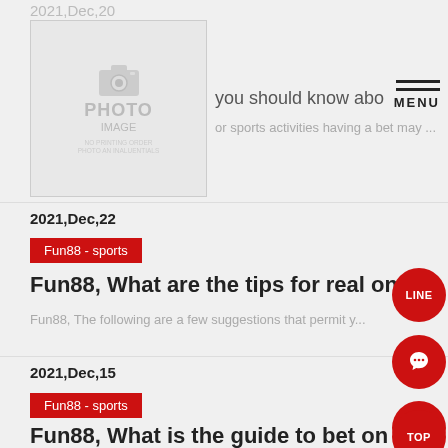2021,Dec,20
[Figure (photo): Placeholder photo image box with camera icon and text PHOTO IMAGE]
you should know about o...
or sports activities having a bet may ...
2021,Dec,22
Fun88 - sports
Fun88, What are the tips for real onlin...
Fun88, The following are a few suggestions that permit y...
2021,Dec,15
Fun88 - sports
Fun88, What is the guide to bet on spo...
Fun88, Many sports activities bettors location bets primar...